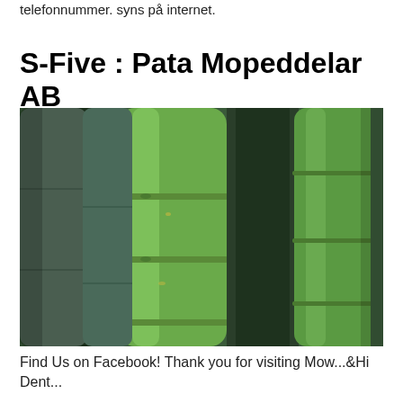telefonnummer. syns på internet.
S-Five : Pata Mopeddelar AB
[Figure (photo): Close-up photograph of green bamboo stalks/stems with visible nodes, varying in shade from bright green to dark green/grey.]
Find Us on Facebook! Thank you for visiting Mow...&Hi Dent...